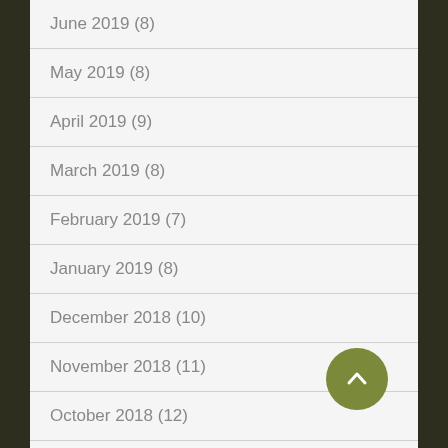June 2019 (8)
May 2019 (8)
April 2019 (9)
March 2019 (8)
February 2019 (7)
January 2019 (8)
December 2018 (10)
November 2018 (11)
October 2018 (12)
September 2018 (12)